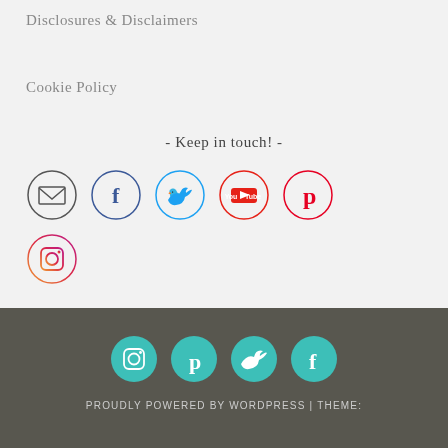Disclosures & Disclaimers
Cookie Policy
- Keep in touch! -
[Figure (illustration): Row of social media icon circles: email, Facebook, Twitter, YouTube, Pinterest]
[Figure (illustration): Instagram icon circle]
[Figure (illustration): Footer row of teal social media icon circles: Instagram, Pinterest, Twitter, Facebook]
PROUDLY POWERED BY WORDPRESS | THEME: